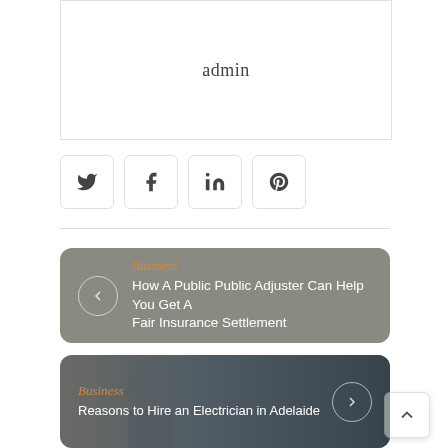admin
[Figure (infographic): Social sharing icons row: Twitter, Facebook, LinkedIn, Pinterest in rounded square buttons]
Business
How A Public Public Adjuster Can Help You Get A Fair Insurance Settlement
Business
Reasons to Hire an Electrician in Adelaide